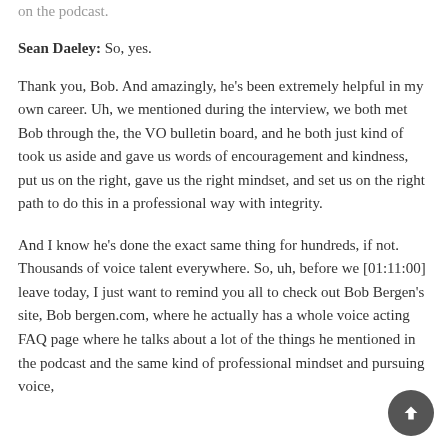on the podcast.
Sean Daeley: So, yes.
Thank you, Bob. And amazingly, he's been extremely helpful in my own career. Uh, we mentioned during the interview, we both met Bob through the, the VO bulletin board, and he both just kind of took us aside and gave us words of encouragement and kindness, put us on the right, gave us the right mindset, and set us on the right path to do this in a professional way with integrity.
And I know he's done the exact same thing for hundreds, if not. Thousands of voice talent everywhere. So, uh, before we [01:11:00] leave today, I just want to remind you all to check out Bob Bergen's site, Bob bergen.com, where he actually has a whole voice acting FAQ page where he talks about a lot of the things he mentioned in the podcast and the same kind of professional mindset and pursuing voice,